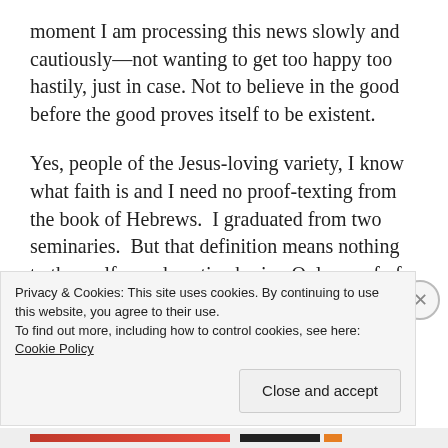moment I am processing this news slowly and cautiously—not wanting to get too happy too hastily, just in case. Not to believe in the good before the good proves itself to be existent.
Yes, people of the Jesus-loving variety, I know what faith is and I need no proof-texting from the book of Hebrews. I graduated from two seminaries. But that definition means nothing to the malformed captive brain. Only proof of the existence of the good works, and the only good guaranteed is that which comes from within, founded upon…
Privacy & Cookies: This site uses cookies. By continuing to use this website, you agree to their use.
To find out more, including how to control cookies, see here: Cookie Policy
Close and accept